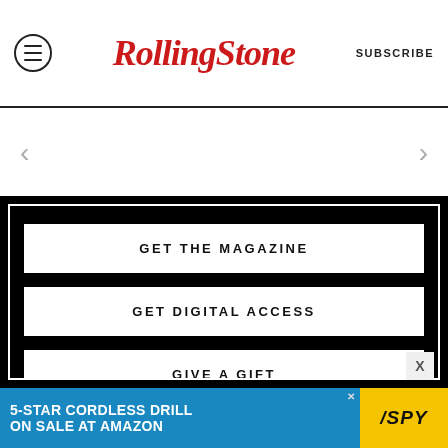RollingStone — SUBSCRIBE
< >
GET THE MAGAZINE
GET DIGITAL ACCESS
GIVE A GIFT
CUSTOMER SERVICE
[Figure (screenshot): Advertisement banner: 5-STAR CORDLESS DRILL ON SALE AT AMAZON / SPY logo]
X